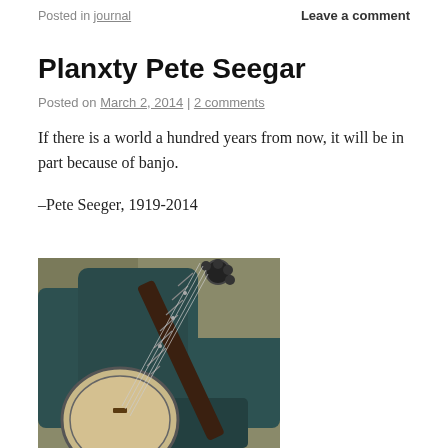Posted in journal   Leave a comment
Planxty Pete Seegar
Posted on March 2, 2014 | 2 comments
If there is a world a hundred years from now, it will be in part because of banjo.
–Pete Seeger, 1919-2014
[Figure (photo): A banjo leaning against a dark teal/green upholstered wingback chair in a room with an olive-colored wall.]